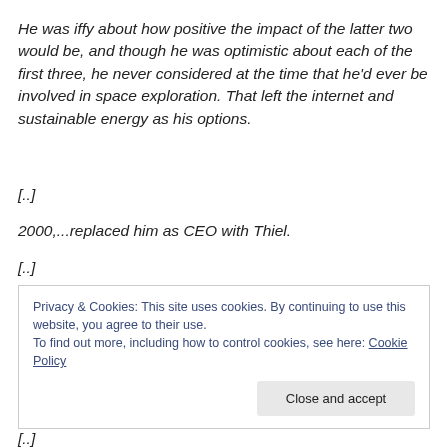He was iffy about how positive the impact of the latter two would be, and though he was optimistic about each of the first three, he never considered at the time that he'd ever be involved in space exploration. That left the internet and sustainable energy as his options.
[..]
2000,...replaced him as CEO with Thiel.
[..]
Privacy & Cookies: This site uses cookies. By continuing to use this website, you agree to their use.
To find out more, including how to control cookies, see here: Cookie Policy
[Close and accept]
[..]